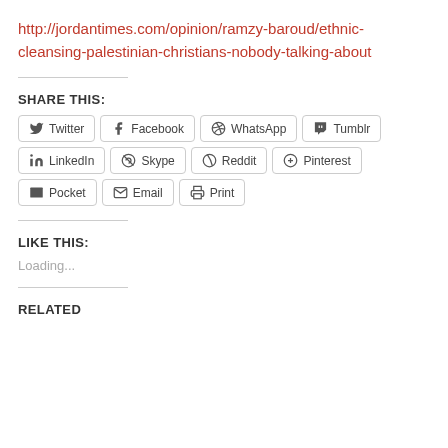http://jordantimes.com/opinion/ramzy-baroud/ethnic-cleansing-palestinian-christians-nobody-talking-about
SHARE THIS:
Twitter Facebook WhatsApp Tumblr LinkedIn Skype Reddit Pinterest Pocket Email Print
LIKE THIS:
Loading...
RELATED